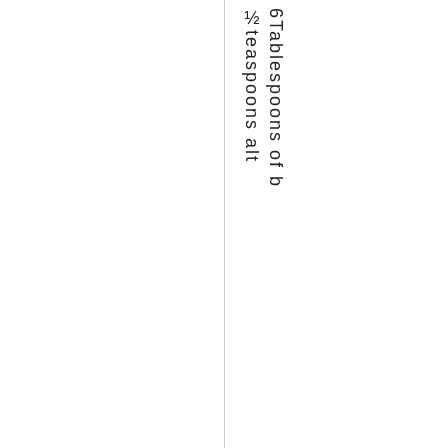½ teaspoons alt
6Tablespoons of b